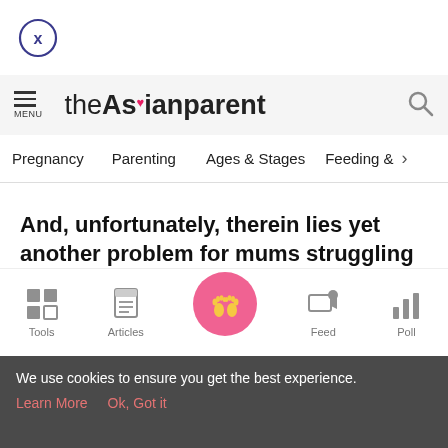[Figure (other): Close button - circle with X]
theAsianparent
Pregnancy  Parenting  Ages & Stages  Feeding &
And, unfortunately, therein lies yet another problem for mums struggling to make friends:
Tools  Articles  Feed  Poll
We use cookies to ensure you get the best experience. Learn More  Ok, Got it